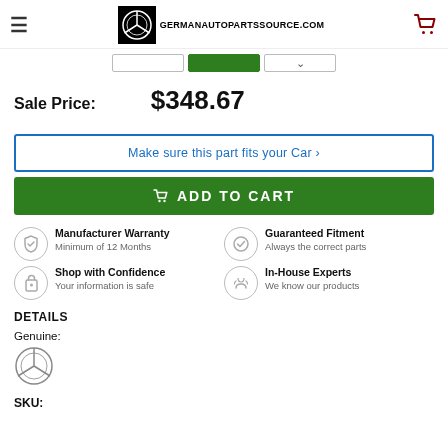GERMANAUTOPARTSSOURCE.COM
Sale Price: $348.67
Make sure this part fits your Car >
ADD TO CART
Manufacturer Warranty
Minimum of 12 Months
Guaranteed Fitment
Always the correct parts
Shop with Confidence
Your information is safe
In-House Experts
We know our products
DETAILS
Genuine:
SKU: